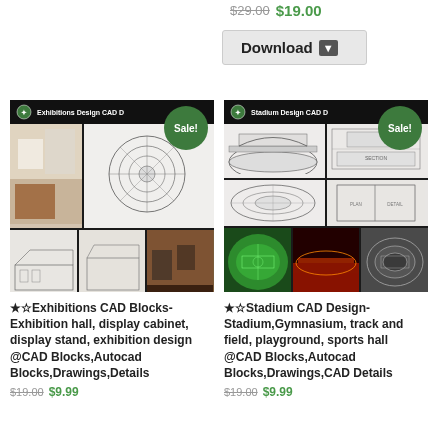$29.00 $19.00
Download
[Figure (illustration): Exhibitions Design CAD D... product thumbnail with Sale! badge showing exhibition hall drawings and interior photos]
★☆Exhibitions CAD Blocks-Exhibition hall, display cabinet, display stand, exhibition design @CAD Blocks,Autocad Blocks,Drawings,Details
$19.00 $9.99
[Figure (illustration): Stadium Design CAD D... product thumbnail with Sale! badge showing stadium architectural drawings and aerial photos]
★☆Stadium CAD Design-Stadium,Gymnasium, track and field, playground, sports hall @CAD Blocks,Autocad Blocks,Drawings,CAD Details
$19.00 $9.99